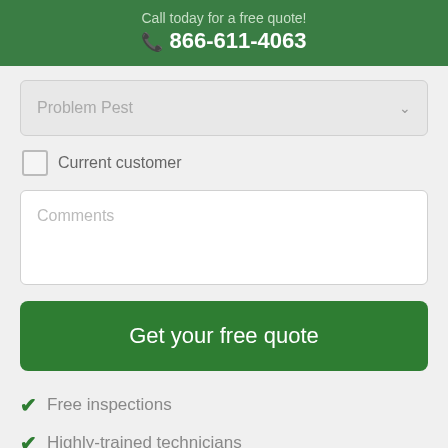Call today for a free quote! 📞 866-611-4063
Problem Pest
Current customer
Comments
Get your free quote
Free inspections
Highly-trained technicians